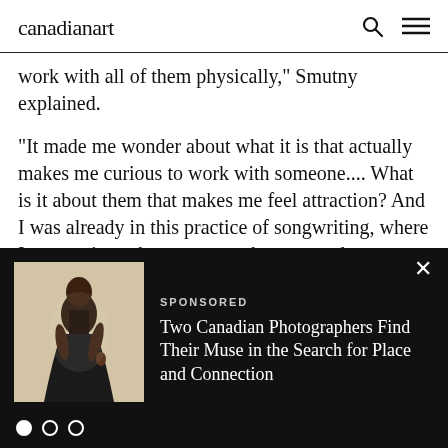canadianart
work with all of them physically,” Smutny explained.
“It made me wonder about what it is that actually makes me curious to work with someone.... What is it about them that makes me feel attraction? And I was already in this practice of songwriting, where I was curious about texts, and songs, and specifically pop songs and love songs. I’m not a musician at all, but I started thinking about how I would love to make songs for
[Figure (photo): A figure of a person with dark markings on their body, wearing a flowing dark garment, against a light background. Part of a sponsored advertisement.]
SPONSORED
Two Canadian Photographers Find Their Muse in the Search for Place and Connection